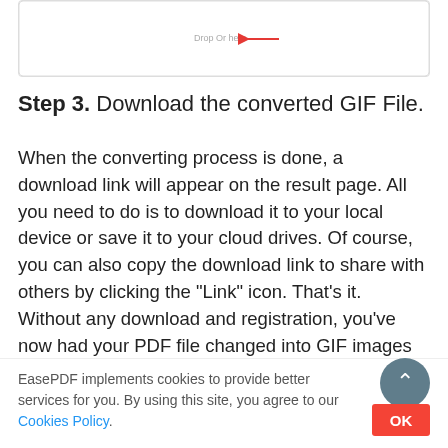[Figure (screenshot): Upload/drop zone box with 'Drop Or here' label and a red arrow pointing to it]
Step 3. Download the converted GIF File.
When the converting process is done, a download link will appear on the result page. All you need to do is to download it to your local device or save it to your cloud drives. Of course, you can also copy the download link to share with others by clicking the "Link" icon. That's it. Without any download and registration, you've now had your PDF file changed into GIF images for free!
You can click the "Start Over" to start a new PDF to GIF
EasePDF implements cookies to provide better services for you. By using this site, you agree to our Cookies Policy.